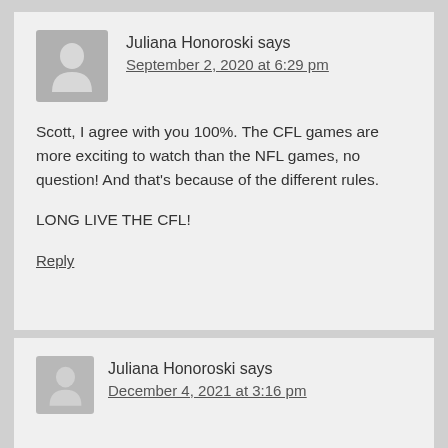[Figure (illustration): Gray avatar placeholder icon with person silhouette]
Juliana Honoroski says
September 2, 2020 at 6:29 pm
Scott, I agree with you 100%. The CFL games are more exciting to watch than the NFL games, no question! And that's because of the different rules.
LONG LIVE THE CFL!
Reply
[Figure (illustration): Gray avatar placeholder icon with person silhouette (second comment)]
Juliana Honoroski says
December 4, 2021 at 3:16 pm